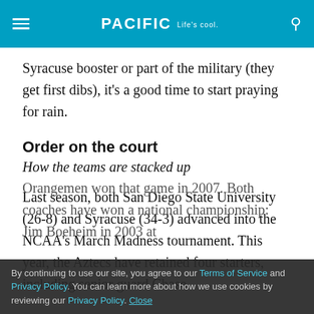PACIFIC Life's cool
Syracuse booster or part of the military (they get first dibs), it's a good time to start praying for rain.
Order on the court
How the teams are stacked up
Last season, both San Diego State University (26-8) and Syracuse (34-3) advanced into the NCAA's March Madness tournament. This year, the Aztecs have retained four starters, including senior guard Chase
Orangemen won that game in 2007. Both coaches have won a national championship: Jim Boeheim in 2003 at
By continuing to use our site, you agree to our Terms of Service and Privacy Policy. You can learn more about how we use cookies by reviewing our Privacy Policy. Close